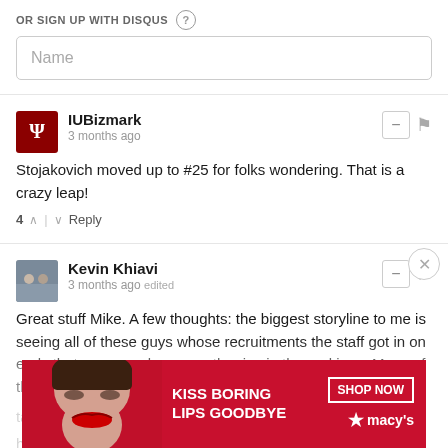OR SIGN UP WITH DISQUS ?
Name
IUBizmark
3 months ago
Stojakovich moved up to #25 for folks wondering. That is a crazy leap!
4 ↑ | ↓ Reply
Kevin Khiavi
3 months ago edited
Great stuff Mike. A few thoughts: the biggest storyline to me is seeing all of these guys whose recruitments the staff got in on early that are now players on the rise in the rankings. Many of the unranked to lower ranked guys that IU was targeting made huge leaps in 247's rankings updates. Also holy m... can see to... several question marks. Although I guess with her athleticism and versatile skillset he arguably fits the profile of a potential
[Figure (advertisement): Macy's advertisement banner: KISS BORING LIPS GOODBYE with SHOP NOW button and Macy's logo on red background]